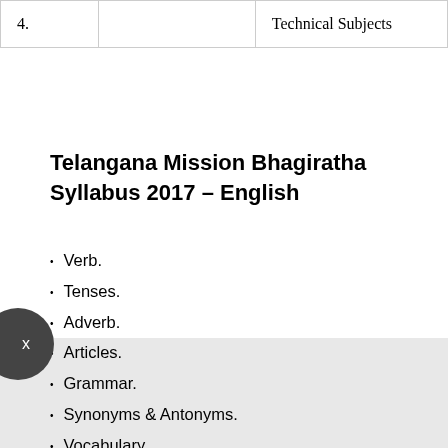| 4. |  | Technical Subjects |
Telangana Mission Bhagiratha Syllabus 2017 – English
Verb.
Tenses.
Adverb.
Articles.
Grammar.
Synonyms & Antonyms.
Vocabulary.
Conclusion.
Comprehension.